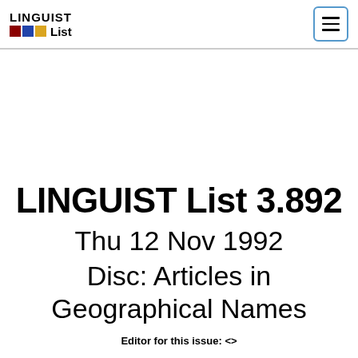LINGUIST List
LINGUIST List 3.892
Thu 12 Nov 1992
Disc: Articles in Geographical Names
Editor for this issue: <>